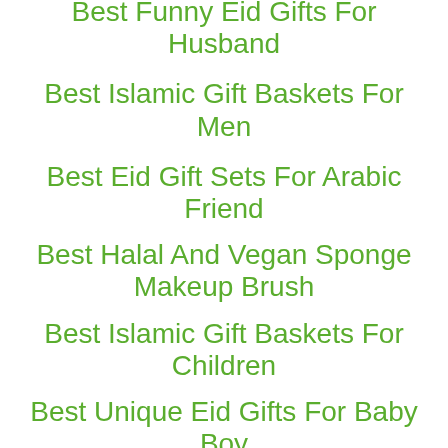Best Funny Eid Gifts For Husband
Best Islamic Gift Baskets For Men
Best Eid Gift Sets For Arabic Friend
Best Halal And Vegan Sponge Makeup Brush
Best Islamic Gift Baskets For Children
Best Unique Eid Gifts For Baby Boy
Best Chocolate Islamic Gifts For Her